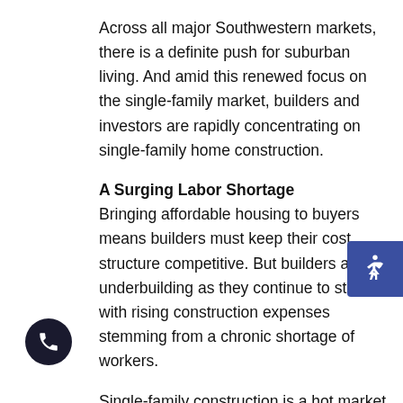Across all major Southwestern markets, there is a definite push for suburban living. And amid this renewed focus on the single-family market, builders and investors are rapidly concentrating on single-family home construction.
A Surging Labor Shortage
Bringing affordable housing to buyers means builders must keep their cost structure competitive. But builders are still underbuilding as they continue to struggle with rising construction expenses stemming from a chronic shortage of workers.
Single-family construction is a hot market right now, breaking records in various divisions for